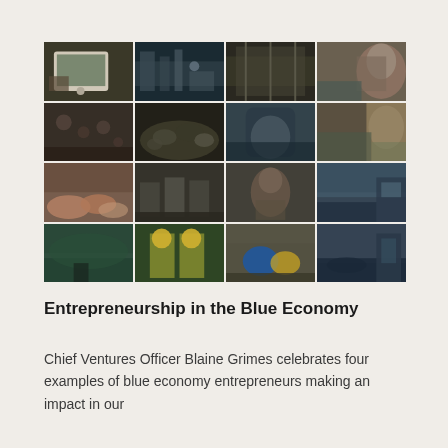[Figure (photo): A 4x4 grid collage of photos depicting blue economy entrepreneurs and workers: people using tablets, machinery, seafood/mussels in bowls, fishing vessels, people working on boats, seaweed harvesting, fish on ice, dock workers, a smiling man in an orange vest, a woman in a red jacket, construction workers in yellow safety vests with helmets, aerial coastal view, harbor at sunset, laboratory work with blue gloves.]
Entrepreneurship in the Blue Economy
Chief Ventures Officer Blaine Grimes celebrates four examples of blue economy entrepreneurs making an impact in our